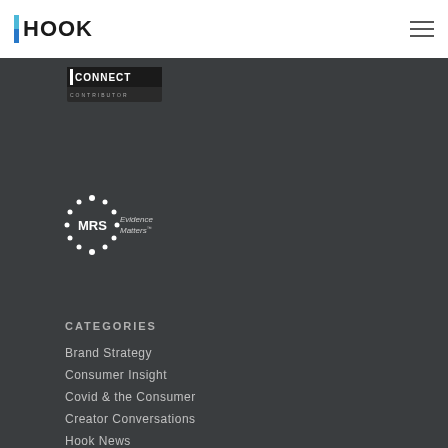HOOK
[Figure (logo): Forbes Connect Contributor logo - white text on dark banner]
[Figure (logo): MRS Evidence Matters logo - circular logo with text]
CATEGORIES
Brand Strategy
Consumer Insight
Covid & the Consumer
Creator Conversations
Hook News
Kids Media
Media Research
Newsletter